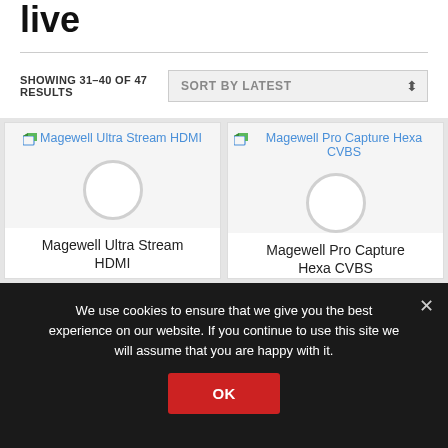live
SHOWING 31–40 OF 47 RESULTS
SORT BY LATEST
[Figure (screenshot): Product card for Magewell Ultra Stream HDMI with loading spinner and blue link text]
[Figure (screenshot): Product card for Magewell Pro Capture Hexa CVBS with loading spinner and blue link text]
Magewell Ultra Stream HDMI
Magewell Pro Capture Hexa CVBS
We use cookies to ensure that we give you the best experience on our website. If you continue to use this site we will assume that you are happy with it.